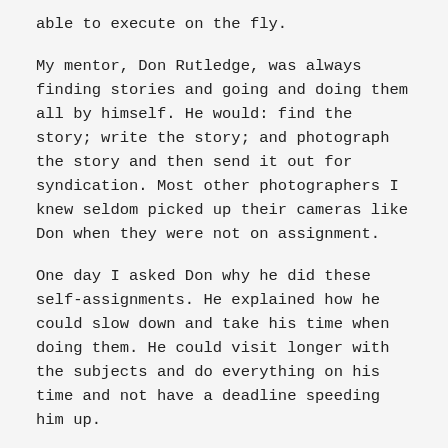able to execute on the fly.
My mentor, Don Rutledge, was always finding stories and going and doing them all by himself. He would: find the story; write the story; and photograph the story and then send it out for syndication. Most other photographers I knew seldom picked up their cameras like Don when they were not on assignment.
One day I asked Don why he did these self-assignments. He explained how he could slow down and take his time when doing them. He could visit longer with the subjects and do everything on his time and not have a deadline speeding him up.
I remember a few times where Don would have started a story and then decide to go back another day to do more work on it.